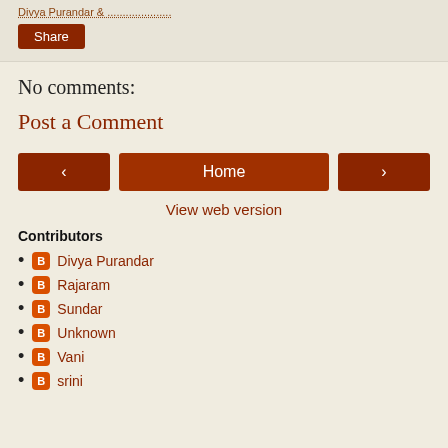Divya Purandar &...
Share
No comments:
Post a Comment
< Home >
View web version
Contributors
Divya Purandar
Rajaram
Sundar
Unknown
Vani
srini